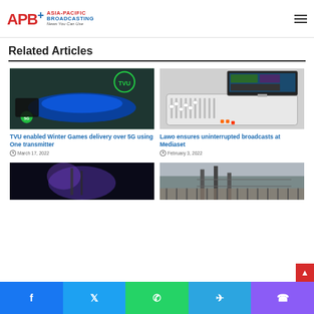APB+ Asia-Pacific Broadcasting — News You Can Use
Related Articles
[Figure (photo): TVU Winter Games 5G broadcast equipment with stadium lit in blue lights at night]
TVU enabled Winter Games delivery over 5G using One transmitter
March 17, 2022
[Figure (photo): Lawo audio mixing console with monitor showing broadcast software]
Lawo ensures uninterrupted broadcasts at Mediaset
February 3, 2022
[Figure (photo): Dark image with purple atmospheric lighting]
[Figure (photo): Outdoor scene with industrial structure]
Facebook | Twitter | WhatsApp | Telegram | Phone